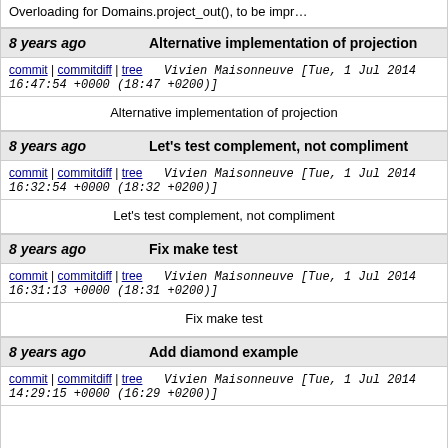Overloading for Domains.project_out(), to be impr…
8 years ago   Alternative implementation of projection
commit | commitdiff | tree   Vivien Maisonneuve [Tue, 1 Jul 2014 16:47:54 +0000 (18:47 +0200)]
Alternative implementation of projection
8 years ago   Let's test complement, not compliment
commit | commitdiff | tree   Vivien Maisonneuve [Tue, 1 Jul 2014 16:32:54 +0000 (18:32 +0200)]
Let's test complement, not compliment
8 years ago   Fix make test
commit | commitdiff | tree   Vivien Maisonneuve [Tue, 1 Jul 2014 16:31:13 +0000 (18:31 +0200)]
Fix make test
8 years ago   Add diamond example
commit | commitdiff | tree   Vivien Maisonneuve [Tue, 1 Jul 2014 14:29:15 +0000 (16:29 +0200)]